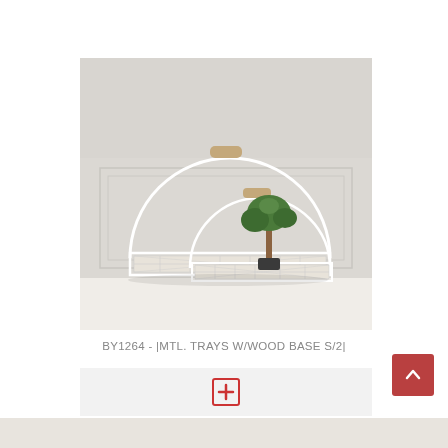[Figure (photo): Two white metal trays with semicircular arch handles topped with wooden knobs and lattice-style metal bases with wood panels. A small decorative bonsai tree sits inside the larger tray. Items on white surface against a light grey wall.]
BY1264 - |MTL. TRAYS W/WOOD BASE S/2|
[Figure (other): Light grey button area with a red-bordered plus/add icon in the center]
[Figure (other): Red back-to-top button with white upward chevron arrow in lower right]